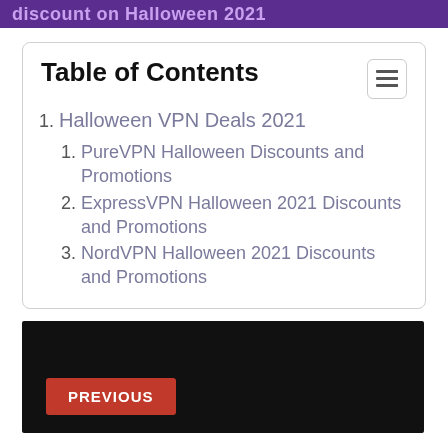discount on Halloween 2021
Table of Contents
1. Halloween VPN Deals 2021
1. PureVPN Halloween Discounts and Promotions
2. ExpressVPN Halloween 2021 Discounts and Promotions
3. NordVPN Halloween 2021 Discounts and Promotions
[Figure (screenshot): Dark banner with a red PREVIOUS button at the bottom left]